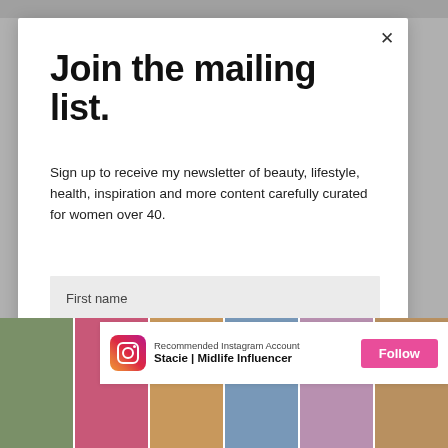Join the mailing list.
Sign up to receive my newsletter of beauty, lifestyle, health, inspiration and more content carefully curated for women over 40.
First name
Email address
[Figure (screenshot): Instagram recommended account widget showing 'Recommended Instagram Account' label, 'Stacie | Midlife Influencer' account name with Instagram logo, and a pink 'Follow' button.]
[Figure (photo): Strip of Instagram photo thumbnails showing women in various outfits.]
X CLOSE